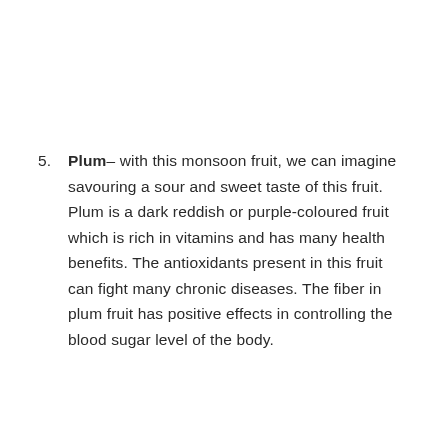5. Plum– with this monsoon fruit, we can imagine savouring a sour and sweet taste of this fruit. Plum is a dark reddish or purple-coloured fruit which is rich in vitamins and has many health benefits. The antioxidants present in this fruit can fight many chronic diseases. The fiber in plum fruit has positive effects in controlling the blood sugar level of the body.